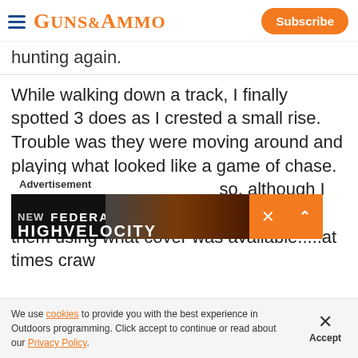GUNS&AMMO | Subscribe
hunting again.
While walking down a track, I finally spotted 3 does as I crested a small rise. Trouble was they were moving around and playing what looked like a game of chase. Range was about 380 yds so, although I was in full view, I moved slowly towards them using what cover was available.....at times craw
[Figure (screenshot): Advertisement overlay showing NEW FEDERAL branding with dark background and orange close/expand buttons]
We use cookies to provide you with the best experience in Outdoors programming. Click accept to continue or read about our Privacy Policy.